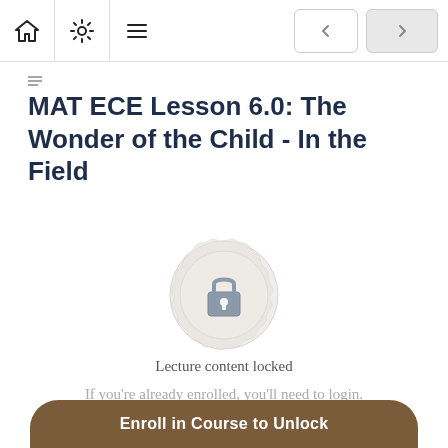MAT ECE Lesson 6.0: The Wonder of the Child - In the Field
MAT ECE Lesson 6.0: The Wonder of the Child - In the Field
[Figure (illustration): Decorative lock icon with ornate circular badge background indicating locked lecture content]
Lecture content locked
If you're already enrolled, you'll need to login.
Enroll in Course to Unlock